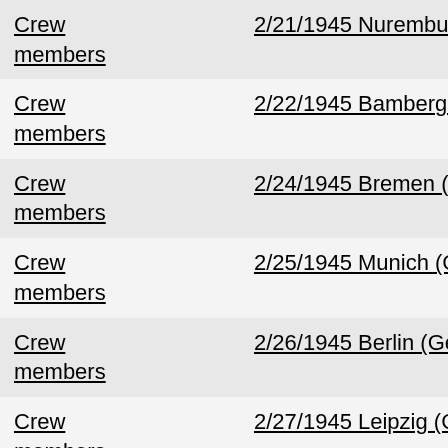|  | Date/Location | Code |
| --- | --- | --- |
| Crew members | 2/21/1945 Nuremburg (Germany) | B.B. ... |
| Crew members | 2/22/1945 Bamberg (Germany) | P.E. P... |
| Crew members | 2/24/1945 Bremen (Germany) | R.C. ... |
| Crew members | 2/25/1945 Munich (Germany) | P.E. P... |
| Crew members | 2/26/1945 Berlin (Germany) | C.E. W... |
| Crew members | 2/27/1945 Leipzig (Germany) | R.C. ... |
| Crew members | 3/1/1945 Ulm (Germany) | R.C. ... |
| Crew members | 3/2/1945 Ruhland (Germany) | R.C. ... |
| Crew members | 3/3/1945 Brunswick (Germany) | R.C. ... |
| Crew members | 3/4/1945 Ulm (Germany) | F.F. B... |